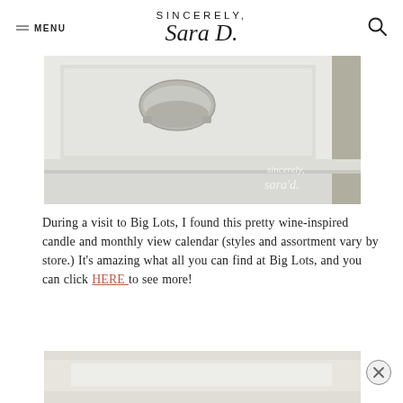SINCERELY, Sara D.
[Figure (photo): Close-up photo of a white painted cabinet door with a brushed nickel cup pull hardware, with a 'Sincerely Sara D.' watermark script in the lower right corner.]
During a visit to Big Lots, I found this pretty wine-inspired candle and monthly view calendar (styles and assortment vary by store.) It's amazing what all you can find at Big Lots, and you can click HERE to see more!
[Figure (photo): Bottom portion of another photo, partially visible at the bottom of the page, showing a light-colored scene.]